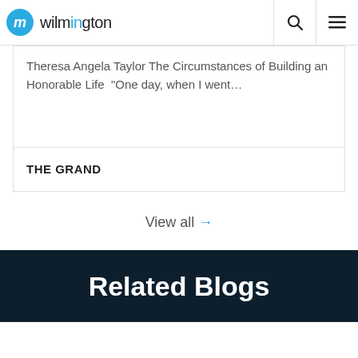wilmington
Theresa Angela Taylor The Circumstances of Building an Honorable Life  "One day, when I went…
THE GRAND
View all →
Related Blogs